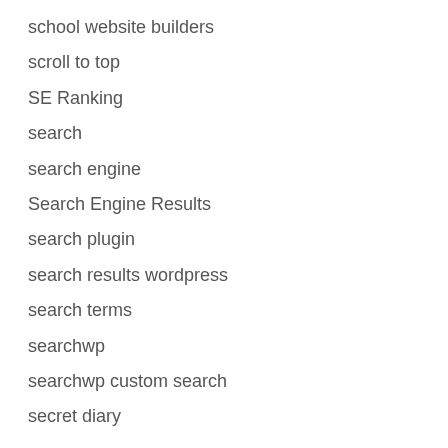school website builders
scroll to top
SE Ranking
search
search engine
Search Engine Results
search plugin
search results wordpress
search terms
searchwp
searchwp custom search
secret diary